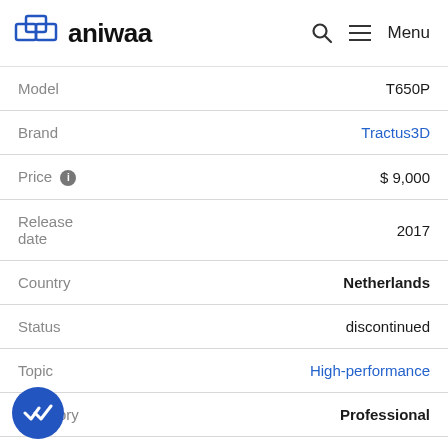aniwaa — Menu
| Field | Value |
| --- | --- |
| Model | T650P |
| Brand | Tractus3D |
| Price | $ 9,000 |
| Release date | 2017 |
| Country | Netherlands |
| Status | discontinued |
| Topic | High-performance |
| Category | Professional |
| Technology | Extrusion |